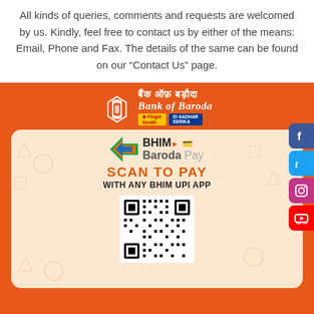All kinds of queries, comments and requests are welcomed by us. Kindly, feel free to contact us by either of the means: Email, Phone and Fax. The details of the same can be found on our “Contact Us” page.
[Figure (infographic): Bank of Baroda BHIM Baroda Pay advertisement with QR code for SCAN TO PAY WITH ANY BHIM UPI APP, with social media icons (Facebook, Twitter, Instagram, YouTube) on the right side.]